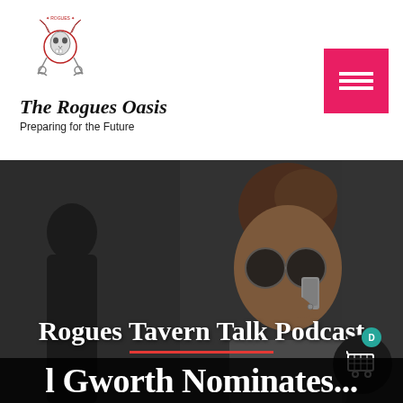[Figure (logo): The Rogues Oasis logo — decorative skull/crest illustration with text]
The Rogues Oasis
Preparing for the Future
[Figure (photo): Hero image: woman with short hair and sunglasses talking on a phone, dark moody background with another person in background]
Rogues Tavern Talk Podcast
l Gworth Nominates...